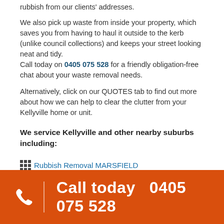rubbish from our clients' addresses.
We also pick up waste from inside your property, which saves you from having to haul it outside to the kerb (unlike council collections) and keeps your street looking neat and tidy.
Call today on 0405 075 528 for a friendly obligation-free chat about your waste removal needs.
Alternatively, click on our QUOTES tab to find out more about how we can help to clear the clutter from your Kellyville home or unit.
We service Kellyville and other nearby suburbs including:
Rubbish Removal MARSFIELD
Call today  0405 075 528